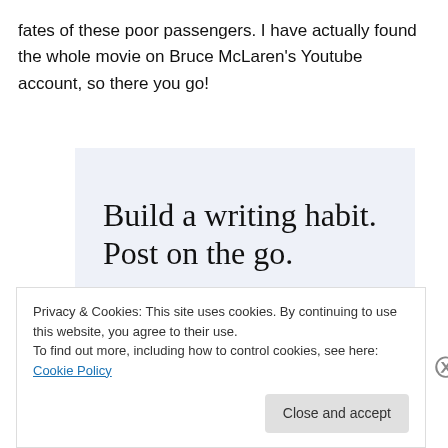fates of these poor passengers. I have actually found the whole movie on Bruce McLaren's Youtube account, so there you go!
[Figure (screenshot): WordPress app advertisement with light blue background. Large serif text reads 'Build a writing habit. Post on the go.' Below is a 'GET THE APP' call-to-action link and a WordPress circular logo icon.]
Privacy & Cookies: This site uses cookies. By continuing to use this website, you agree to their use.
To find out more, including how to control cookies, see here: Cookie Policy
Close and accept